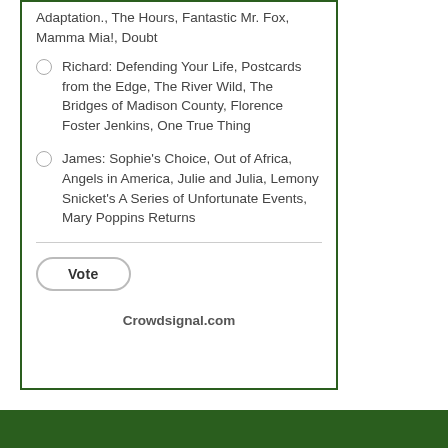Adaptation., The Hours, Fantastic Mr. Fox, Mamma Mia!, Doubt
Richard: Defending Your Life, Postcards from the Edge, The River Wild, The Bridges of Madison County, Florence Foster Jenkins, One True Thing
James: Sophie's Choice, Out of Africa, Angels in America, Julie and Julia, Lemony Snicket's A Series of Unfortunate Events, Mary Poppins Returns
Vote
Crowdsignal.com
SUBSCRIBE